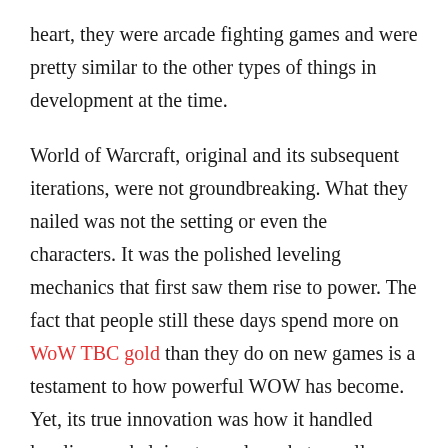heart, they were arcade fighting games and were pretty similar to the other types of things in development at the time.

World of Warcraft, original and its subsequent iterations, were not groundbreaking. What they nailed was not the setting or even the characters. It was the polished leveling mechanics that first saw them rise to power. The fact that people still these days spend more on WoW TBC gold than they do on new games is a testament to how powerful WOW has become. Yet, its true innovation was how it handled leveling up, helping to evolve what we all now consider to be RPG mechanics.